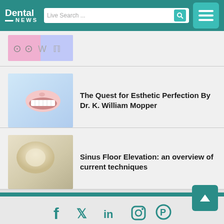Dental News — Live Search
[Figure (screenshot): Partial thumbnail of a dental/orthodontic illustration with pink and purple tones]
[Figure (photo): Close-up of a smiling mouth showing white teeth against a light blue background]
The Quest for Esthetic Perfection By Dr. K. William Mopper
[Figure (photo): Close-up dental/medical image with beige and off-white tones, possibly sinus or bone material]
Sinus Floor Elevation: an overview of current techniques
Social media icons: Facebook, Twitter, LinkedIn, Instagram, Pinterest